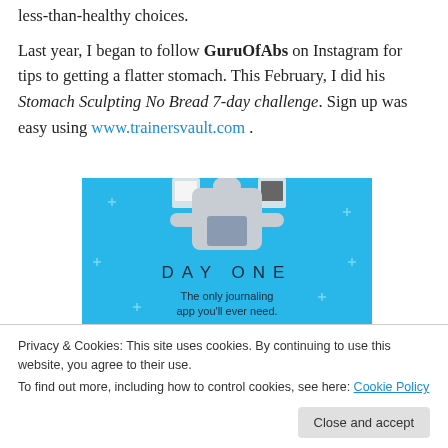less-than-healthy choices.
Last year, I began to follow GuruOfAbs on Instagram for tips to getting a flatter stomach. This February, I did his Stomach Sculpting No Bread 7-day challenge. Sign up was easy using www.trainersvault.com .
[Figure (illustration): Blue background advertisement for 'Day One' journaling app showing a person holding a phone/tablet, with text 'DAY ONE' and 'The only journaling app you'll ever need.']
Privacy & Cookies: This site uses cookies. By continuing to use this website, you agree to their use.
To find out more, including how to control cookies, see here: Cookie Policy
Close and accept